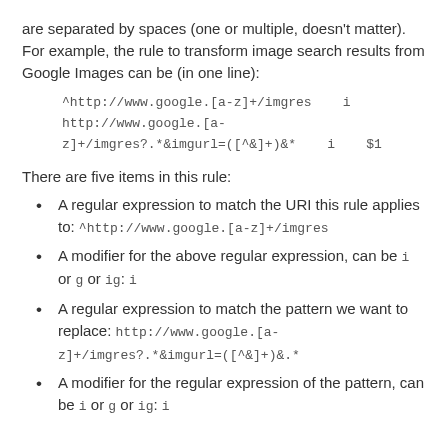are separated by spaces (one or multiple, doesn't matter). For example, the rule to transform image search results from Google Images can be (in one line):
^http://www.google.[a-z]+/imgres    i
http://www.google.[a-z]+/imgres?.*&imgurl=([^&]+)&.*    i    $1
There are five items in this rule:
A regular expression to match the URI this rule applies to: ^http://www.google.[a-z]+/imgres
A modifier for the above regular expression, can be i or g or ig: i
A regular expression to match the pattern we want to replace: http://www.google.[a-z]+/imgres?.*&imgurl=([^&]+)&.*
A modifier for the regular expression of the pattern, can be i or g or ig: i